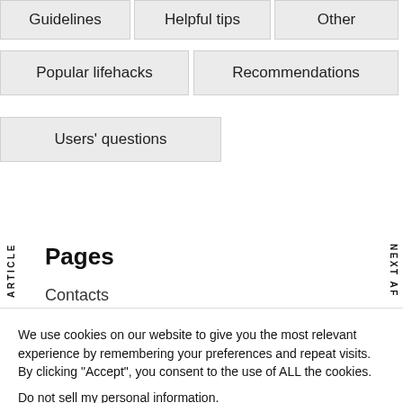Guidelines
Helpful tips
Other
Popular lifehacks
Recommendations
Users' questions
Pages
Contacts
We use cookies on our website to give you the most relevant experience by remembering your preferences and repeat visits. By clicking “Accept”, you consent to the use of ALL the cookies.
Do not sell my personal information.
Cookie Settings
Accept